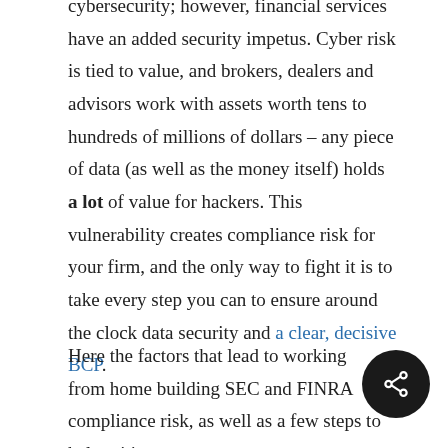cybersecurity; however, financial services have an added security impetus. Cyber risk is tied to value, and brokers, dealers and advisors work with assets worth tens to hundreds of millions of dollars – any piece of data (as well as the money itself) holds a lot of value for hackers. This vulnerability creates compliance risk for your firm, and the only way to fight it is to take every step you can to ensure around the clock data security and a clear, decisive BCP.
Here the factors that lead to working from home building SEC and FINRA compliance risk, as well as a few steps to help mitigate them.